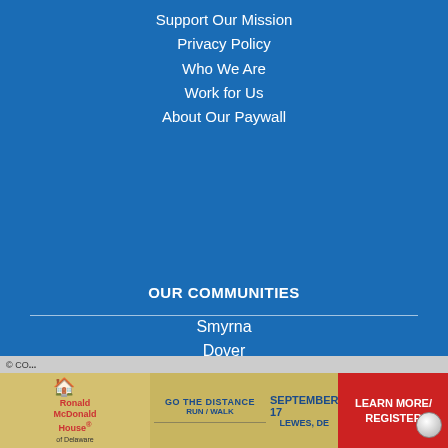Support Our Mission
Privacy Policy
Who We Are
Work for Us
About Our Paywall
OUR COMMUNITIES
Smyrna
Dover
Milford
Harrington
Georgetown
Millsboro
Seaford
Salisbury
Crisfield
Cambridge
[Figure (infographic): Ronald McDonald House of Delaware advertisement banner: GO THE DISTANCE RUN/WALK, SEPTEMBER 17, LEWES, DE, LEARN MORE / REGISTER]
© CO...